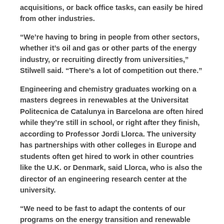acquisitions, or back office tasks, can easily be hired from other industries.
“We’re having to bring in people from other sectors, whether it’s oil and gas or other parts of the energy industry, or recruiting directly from universities,” Stilwell said. “There’s a lot of competition out there.”
Engineering and chemistry graduates working on a masters degrees in renewables at the Universitat Politecnica de Catalunya in Barcelona are often hired while they’re still in school, or right after they finish, according to Professor Jordi Llorca. The university has partnerships with other colleges in Europe and students often get hired to work in other countries like the U.K. or Denmark, said Llorca, who is also the director of an engineering research center at the university.
“We need to be fast to adapt the contents of our programs on the energy transition and renewable energies to make sure our graduates are competitive in the market,” Llorca